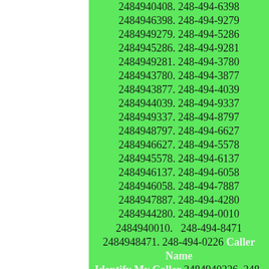2484940408. 248-494-6398 2484946398. 248-494-9279 2484949279. 248-494-5286 2484945286. 248-494-9281 2484949281. 248-494-3780 2484943780. 248-494-3877 2484943877. 248-494-4039 2484944039. 248-494-9337 2484949337. 248-494-8797 2484948797. 248-494-6627 2484946627. 248-494-5578 2484945578. 248-494-6137 2484946137. 248-494-6058 2484946058. 248-494-7887 2484947887. 248-494-4280 2484944280. 248-494-0010 2484940010. 248-494-8471 2484948471. 248-494-0226 Caller Name Identify My Caller 2484940226. 248-494-4259 2484944259. 248-494-4274 2484944274. 248-494-9184 2484949184. 248-494-9404 2484949404. 248-494-7449 2484947449. 248-494-3282 2484943282. 248-494-3893 2484943893. 248-494-4353